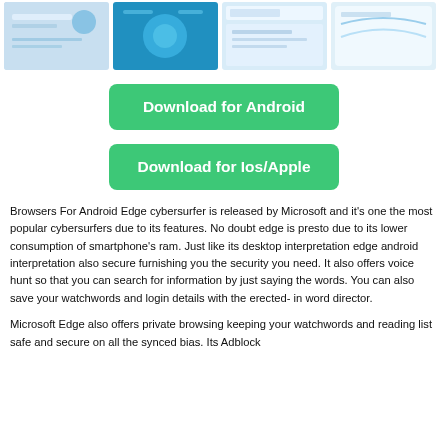[Figure (screenshot): Four thumbnail screenshots of a browser app on mobile/desktop devices]
Download for Android
Download for Ios/Apple
Browsers For Android Edge cybersurfer is released by Microsoft and it's one the most popular cybersurfers due to its features. No doubt edge is presto due to its lower consumption of smartphone's ram. Just like its desktop interpretation edge android interpretation also secure furnishing you the security you need. It also offers voice hunt so that you can search for information by just saying the words. You can also save your watchwords and login details with the erected- in word director.
Microsoft Edge also offers private browsing keeping your watchwords and reading list safe and secure on all the synced bias. Its Adblock